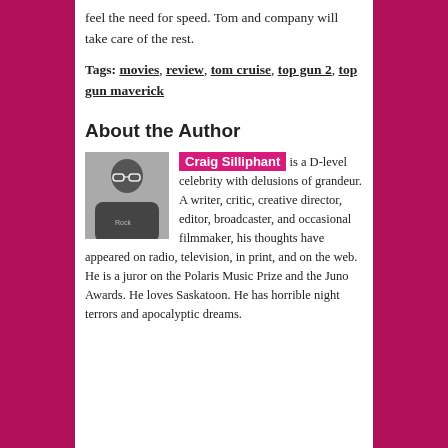feel the need for speed. Tom and company will take care of the rest.
Tags: movies, review, tom cruise, top gun 2, top gun maverick
About the Author
Craig Silliphant is a D-level celebrity with delusions of grandeur. A writer, critic, creative director, editor, broadcaster, and occasional filmmaker, his thoughts have appeared on radio, television, in print, and on the web. He is a juror on the Polaris Music Prize and the Juno Awards. He loves Saskatoon. He has horrible night terrors and apocalyptic dreams.